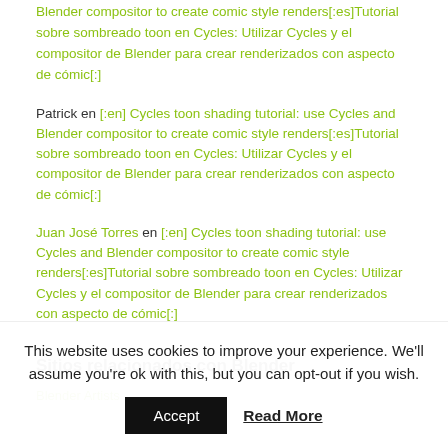Blender compositor to create comic style renders[:es]Tutorial sobre sombreado toon en Cycles: Utilizar Cycles y el compositor de Blender para crear renderizados con aspecto de cómic[:]
Patrick en [:en] Cycles toon shading tutorial: use Cycles and Blender compositor to create comic style renders[:es]Tutorial sobre sombreado toon en Cycles: Utilizar Cycles y el compositor de Blender para crear renderizados con aspecto de cómic[:]
Juan José Torres en [:en] Cycles toon shading tutorial: use Cycles and Blender compositor to create comic style renders[:es]Tutorial sobre sombreado toon en Cycles: Utilizar Cycles y el compositor de Blender para crear renderizados con aspecto de cómic[:]
Sitios relacionados con Blender
Blender Artists
This website uses cookies to improve your experience. We'll assume you're ok with this, but you can opt-out if you wish.